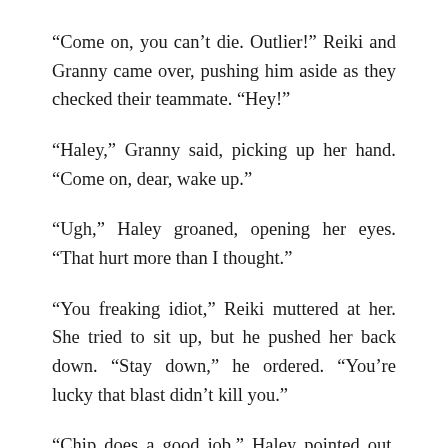“Come on, you can’t die. Outlier!” Reiki and Granny came over, pushing him aside as they checked their teammate. “Hey!”
“Haley,” Granny said, picking up her hand. “Come on, dear, wake up.”
“Ugh,” Haley groaned, opening her eyes. “That hurt more than I thought.”
“You freaking idiot,” Reiki muttered at her. She tried to sit up, but he pushed her back down. “Stay down,” he ordered. “You’re lucky that blast didn’t kill you.”
“Chip does a good job,” Haley pointed out, pulling some of the torn fabric of her uniform away from the scorch to reveal an insulated layer underneath. “My